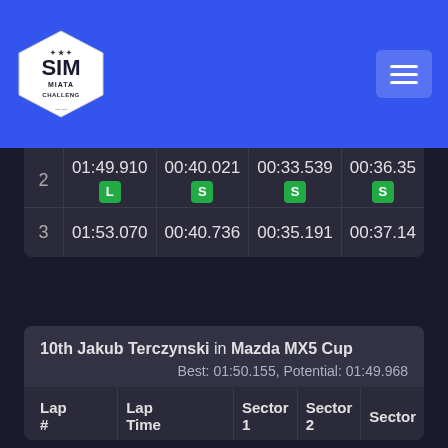[Figure (logo): SIM Miata Challenge hexagonal logo in white on blue header]
| Lap # | Lap Time | Sector 1 | Sector 2 | Sector 3 |
| --- | --- | --- | --- | --- |
| 2 | 01:49.910 [L] | 00:40.021 [S] | 00:33.539 [S] | 00:36.35 [S] |
| 3 | 01:53.070 | 00:40.736 | 00:35.191 | 00:37.14 |
10th Jakub Terczynski in Mazda MX5 Cup
Best: 01:50.155, Potential: 01:49.968
| Lap # | Lap Time | Sector 1 | Sector 2 | Sector |
| --- | --- | --- | --- | --- |